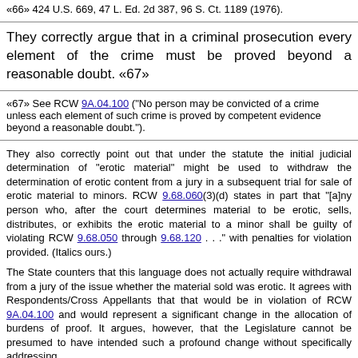«66» 424 U.S. 669, 47 L. Ed. 2d 387, 96 S. Ct. 1189 (1976).
They correctly argue that in a criminal prosecution every element of the crime must be proved beyond a reasonable doubt. «67»
«67» See RCW 9A.04.100 ("No person may be convicted of a crime unless each element of such crime is proved by competent evidence beyond a reasonable doubt.").
They also correctly point out that under the statute the initial judicial determination of "erotic material" might be used to withdraw the determination of erotic content from a jury in a subsequent trial for sale of erotic material to minors. RCW 9.68.060(3)(d) states in part that "[a]ny person who, after the court determines material to be erotic, sells, distributes, or exhibits the erotic material to a minor shall be guilty of violating RCW 9.68.050 through 9.68.120 . . ." with penalties for violation provided. (Italics ours.)
The State counters that this language does not actually require withdrawal from a jury of the issue whether the material sold was erotic. It agrees with Respondents/Cross Appellants that that would be in violation of RCW 9A.04.100 and would represent a significant change in the allocation of burdens of proof. It argues, however, that the Legislature cannot be presumed to have intended such a profound change without specifically addressing